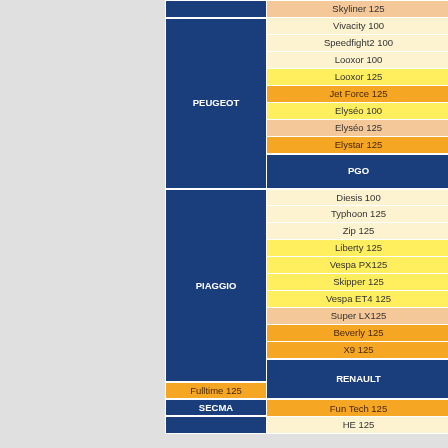| Brand | Model |
| --- | --- |
|  | Skyliner 125 |
| PEUGEOT | Vivacity 100 |
| PEUGEOT | Speedfight2 100 |
| PEUGEOT | Looxor 100 |
| PEUGEOT | Looxor 125 |
| PEUGEOT | Jet Force 125 |
| PEUGEOT | Elyséo 100 |
| PEUGEOT | Elyséo 125 |
| PEUGEOT | Elystar 125 |
| PGO | T-Rex 125 |
| PIAGGIO | Diesis 100 |
| PIAGGIO | Typhoon 125 |
| PIAGGIO | Zip 125 |
| PIAGGIO | Liberty 125 |
| PIAGGIO | Vespa PX125 |
| PIAGGIO | Skipper 125 |
| PIAGGIO | Vespa ET4 125 |
| PIAGGIO | Super LX125 |
| PIAGGIO | Beverly 125 |
| PIAGGIO | X9 125 |
| RENAULT | Kouranos 125 |
| RENAULT | Fulltime 125 |
| SECMA | Fun Tech 125 |
|  | HE 125 |